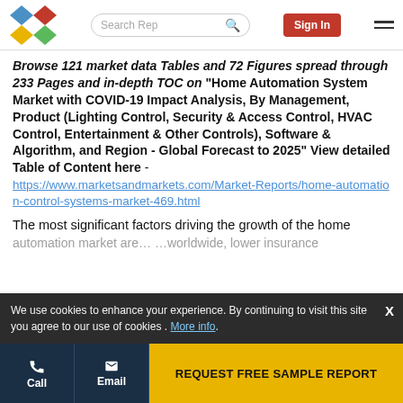Search Rep | Sign In
Browse 121 market data Tables and 72 Figures spread through 233 Pages and in-depth TOC on "Home Automation System Market with COVID-19 Impact Analysis, By Management, Product (Lighting Control, Security & Access Control, HVAC Control, Entertainment & Other Controls), Software & Algorithm, and Region - Global Forecast to 2025" View detailed Table of Content here - https://www.marketsandmarkets.com/Market-Reports/home-automation-control-systems-market-469.html
The most significant factors driving the growth of the home
We use cookies to enhance your experience. By continuing to visit this site you agree to our use of cookies . More info.
REQUEST FREE SAMPLE REPORT